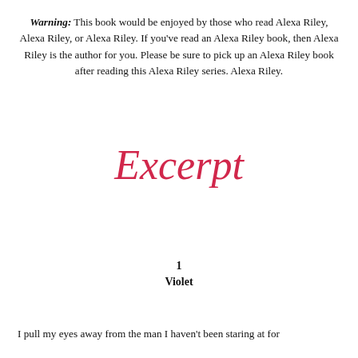Warning: This book would be enjoyed by those who read Alexa Riley, Alexa Riley, or Alexa Riley. If you've read an Alexa Riley book, then Alexa Riley is the author for you. Please be sure to pick up an Alexa Riley book after reading this Alexa Riley series. Alexa Riley.
Excerpt
1
Violet
I pull my eyes away from the man I haven't been staring at for